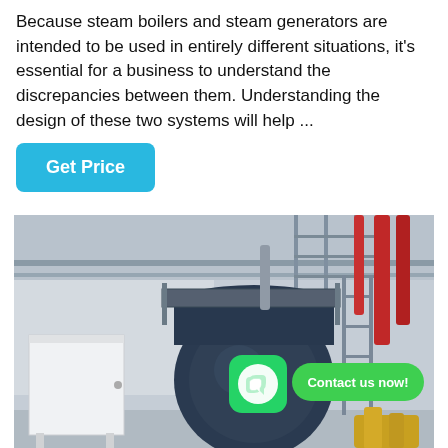Because steam boilers and steam generators are intended to be used in entirely different situations, it's essential for a business to understand the discrepancies between them. Understanding the design of these two systems will help ...
[Figure (other): A button labeled 'Get Price' with a cyan/blue background]
[Figure (photo): Industrial boiler room with a large dark blue cylindrical steam boiler, red piping, scaffolding, a white cabinet, yellow pipe fittings on the floor. A WhatsApp icon and 'Contact us now!' speech bubble overlay the image.]